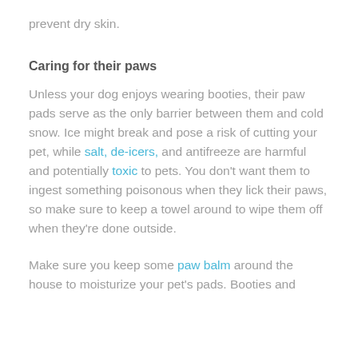prevent dry skin.
Caring for their paws
Unless your dog enjoys wearing booties, their paw pads serve as the only barrier between them and cold snow. Ice might break and pose a risk of cutting your pet, while salt, de-icers, and antifreeze are harmful and potentially toxic to pets. You don't want them to ingest something poisonous when they lick their paws, so make sure to keep a towel around to wipe them off when they're done outside.
Make sure you keep some paw balm around the house to moisturize your pet's pads. Booties and